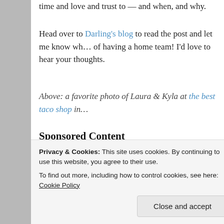time and love and trust to — and when, and why.
Head over to Darling's blog to read the post and let me know wh… of having a home team! I'd love to hear your thoughts.
Above: a favorite photo of Laura & Kyla at the best taco shop in…
Sponsored Content
[Figure (photo): Photo of a person in an industrial or agricultural setting, holding a yellow object, with a large silo or storage tank in the background.]
Privacy & Cookies: This site uses cookies. By continuing to use this website, you agree to their use.
To find out more, including how to control cookies, see here: Cookie Policy
Close and accept